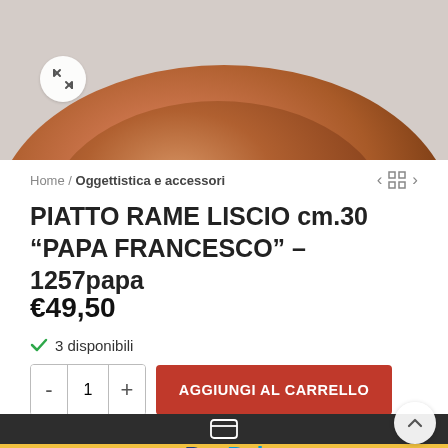[Figure (photo): Copper plate product image with reddish-brown color, partially shown from top]
Home / Oggettistica e accessori
PIATTO RAME LISCIO cm.30 “PAPA FRANCESCO” – 1257papa
€49,50
✓ 3 disponibili
AGGIUNGI AL CARRELLO
[Figure (logo): PayPal logo on yellow background]
[Figure (illustration): Dark bar at bottom with credit card icon]